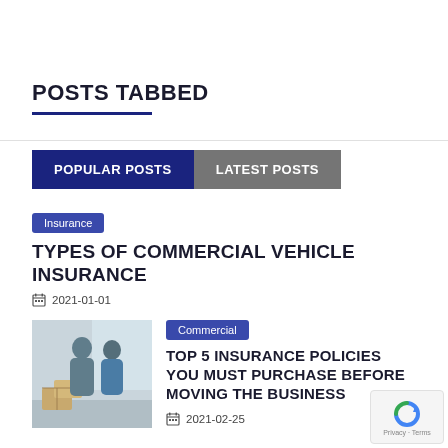POSTS TABBED
POPULAR POSTS  LATEST POSTS
Insurance
TYPES OF COMMERCIAL VEHICLE INSURANCE
2021-01-01
[Figure (photo): Two people standing near cardboard boxes in an office setting]
Commercial
TOP 5 INSURANCE POLICIES YOU MUST PURCHASE BEFORE MOVING THE BUSINESS
2021-02-25